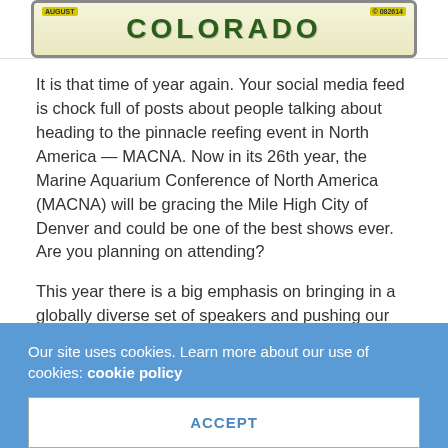[Figure (photo): Colorado license plate with green COLORADO text on yellow-green background, showing AUGUST sticker and registration number]
It is that time of year again. Your social media feed is chock full of posts about people talking about heading to the pinnacle reefing event in North America — MACNA. Now in its 26th year, the Marine Aquarium Conference of North America (MACNA) will be gracing the Mile High City of Denver and could be one of the best shows ever. Are you planning on attending?
This year there is a big emphasis on bringing in a globally diverse set of speakers and pushing our understanding of reef aquaria in a new direction. Just by looking at the credentials these speakers bring, you will be amazed by
Our site uses cookies. Learn more about our use of cookies: cookie policy
ACCEPT